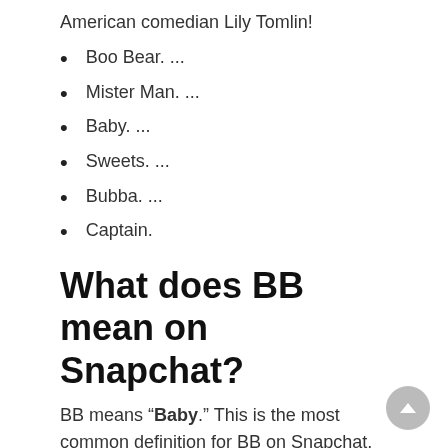American comedian Lily Tomlin!
Boo Bear. ...
Mister Man. ...
Baby. ...
Sweets. ...
Bubba. ...
Captain.
What does BB mean on Snapchat?
BB means “Baby.” This is the most common definition for BB on Snapchat, WhatsApp, Facebook, and other text or messaging services.